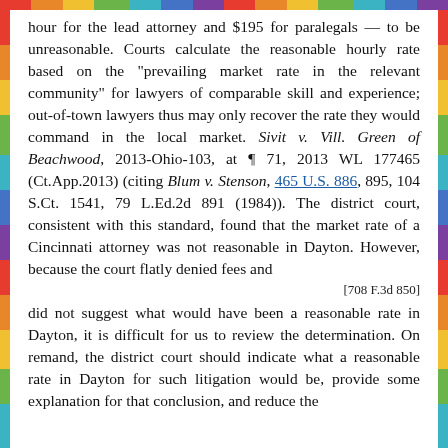hour for the lead attorney and $195 for paralegals — to be unreasonable. Courts calculate the reasonable hourly rate based on the "prevailing market rate in the relevant community" for lawyers of comparable skill and experience; out-of-town lawyers thus may only recover the rate they would command in the local market. Sivit v. Vill. Green of Beachwood, 2013-Ohio-103, at ¶ 71, 2013 WL 177465 (Ct.App.2013) (citing Blum v. Stenson, 465 U.S. 886, 895, 104 S.Ct. 1541, 79 L.Ed.2d 891 (1984)). The district court, consistent with this standard, found that the market rate of a Cincinnati attorney was not reasonable in Dayton. However, because the court flatly denied fees and
[708 F.3d 850]
did not suggest what would have been a reasonable rate in Dayton, it is difficult for us to review the determination. On remand, the district court should indicate what a reasonable rate in Dayton for such litigation would be, provide some explanation for that conclusion, and reduce the